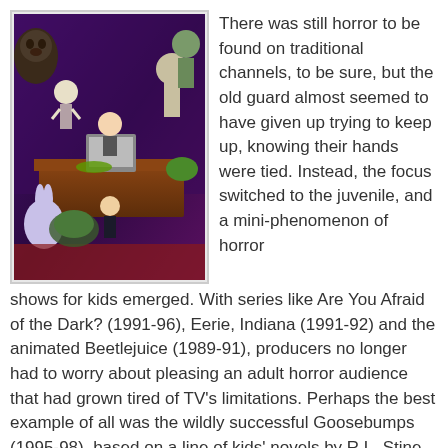[Figure (illustration): Colorful horror-themed illustration showing various monsters including a gorilla/werewolf, skeleton, mummy, Frankenstein's monster, and other creatures surrounding a frightened man at a desk with a TV/monitor, with a small man in a tuxedo in the foreground. Purple/violet background. Likely Goosebumps or similar horror kids' media artwork.]
There was still horror to be found on traditional channels, to be sure, but the old guard almost seemed to have given up trying to keep up, knowing their hands were tied. Instead, the focus switched to the juvenile, and a mini-phenomenon of horror shows for kids emerged. With series like Are You Afraid of the Dark? (1991-96), Eerie, Indiana (1991-92) and the animated Beetlejuice (1989-91), producers no longer had to worry about pleasing an adult horror audience that had grown tired of TV's limitations. Perhaps the best example of all was the wildly successful Goosebumps (1995-98), based on a line of kids' novels by R.L. Stine that were huge back when J.K. Rowling was still a schoolteacher.
When it did try and deal with more grown-up horror, it